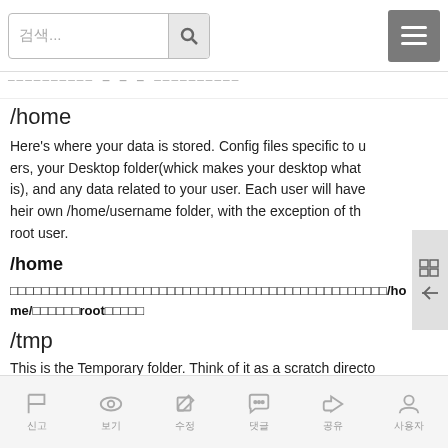Search bar and menu header
— — — — — — — — — — — — — — — — — — —
/home
Here's where your data is stored. Config files specific to users, your Desktop folder(whick makes your desktop what is), and any data related to your user. Each user will have heir own /home/username folder, with the exception of the root user.
/home
□□□□□□□□□□□□□□□□□□□□□□□□□□□□□□□□□□□□□□□□□□□□□□□□□□□□/home/□□□□□□root□□□□□
/tmp
This is the Temporary folder. Think of it as a scratch directo
신고 보기 수정 댓글 공유 사용자